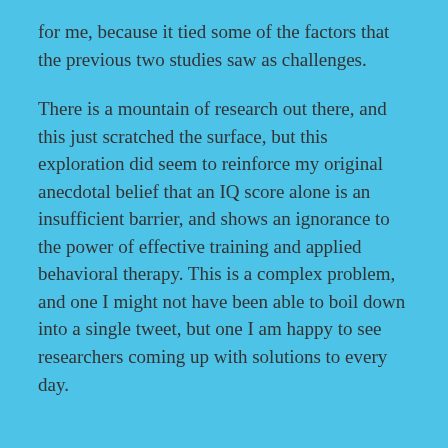for me, because it tied some of the factors that the previous two studies saw as challenges.
There is a mountain of research out there, and this just scratched the surface, but this exploration did seem to reinforce my original anecdotal belief that an IQ score alone is an insufficient barrier, and shows an ignorance to the power of effective training and applied behavioral therapy. This is a complex problem, and one I might not have been able to boil down into a single tweet, but one I am happy to see researchers coming up with solutions to every day.